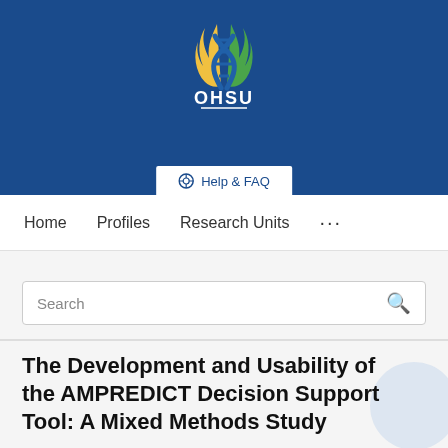[Figure (logo): OHSU logo with stylized DNA/flame icon in blue, green, and gold on dark blue background, with OHSU text and underline in white]
[Figure (screenshot): Help & FAQ button in white rounded rectangle]
Home   Profiles   Research Units   ...
Search
The Development and Usability of the AMPREDICT Decision Support Tool: A Mixed Methods Study